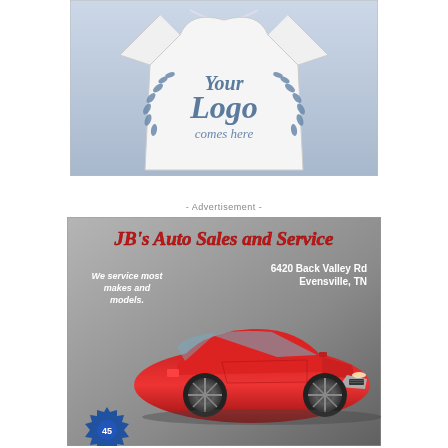[Figure (illustration): White t-shirt with 'Your Logo comes here' placeholder graphic featuring laurel wreath design in slate blue]
- Advertisement -
[Figure (illustration): Advertisement for JB's Auto Sales and Service. Gray gradient background with red cursive title text 'JB's Auto Sales and Service', address '6420 Back Valley Rd Evensville, TN', tagline 'We service most makes and models.' and image of a red Ford Mustang with a blue gear badge at bottom left.]